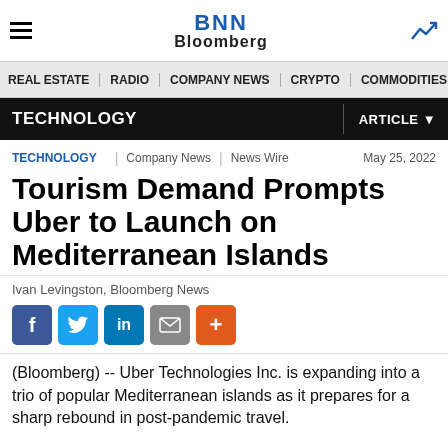BNN Bloomberg
REAL ESTATE | RADIO | COMPANY NEWS | CRYPTO | COMMODITIES | CANN
TECHNOLOGY | ARTICLE
TECHNOLOGY | Company News | News Wire | May 25, 2022
Tourism Demand Prompts Uber to Launch on Mediterranean Islands
Ivan Levingston, Bloomberg News
[Figure (infographic): Social media share buttons: Facebook, Twitter, LinkedIn, Email, More (+)]
(Bloomberg) -- Uber Technologies Inc. is expanding into a trio of popular Mediterranean islands as it prepares for a sharp rebound in post-pandemic travel.